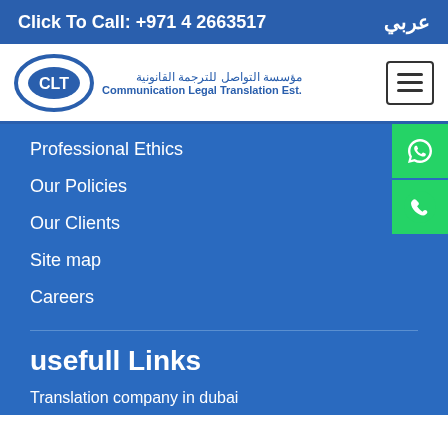Click To Call: +971 4 2663517   عربي
[Figure (logo): CLT - Communication Legal Translation Est. logo with Arabic text مؤسسة التواصل للترجمة القانونية]
Professional Ethics
Our Policies
Our Clients
Site map
Careers
usefull Links
Translation company in dubai